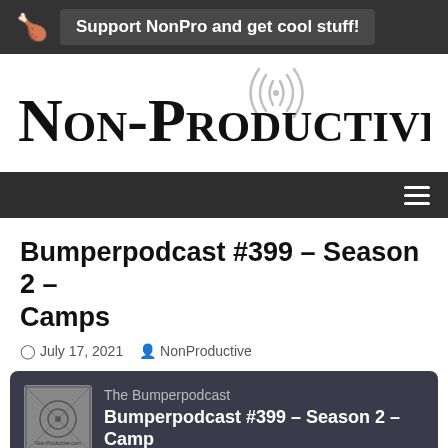Support NonPro and get cool stuff!
[Figure (logo): Non-Productive.com website logo with radio signal waves icon]
Bumperpodcast #399 – Season 2 – Camps
July 17, 2021   NonProductive
[Figure (screenshot): Podcast audio player showing The Bumperpodcast episode Bumperpodcast #399 – Season 2 – Camps with play button, progress bar, and controls showing 00:00]